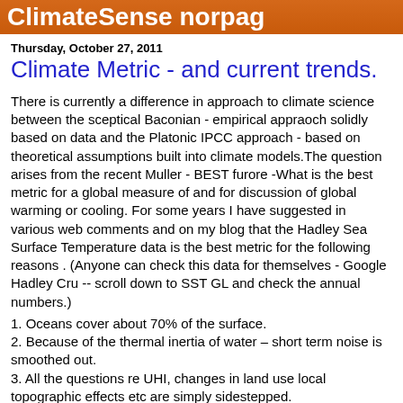ClimateSense norpag
Thursday, October 27, 2011
Climate Metric - and current trends.
There is currently a difference in approach to climate science between the sceptical Baconian - empirical appraoch solidly based on data and the Platonic IPCC approach - based on theoretical assumptions built into climate models.The question arises from the recent Muller - BEST furore -What is the best metric for a global measure of and for discussion of global warming or cooling. For some years I have suggested in various web comments and on my blog that the Hadley Sea Surface Temperature data is the best metric for the following reasons . (Anyone can check this data for themselves - Google Hadley Cru -- scroll down to SST GL and check the annual numbers.)
1. Oceans cover about 70% of the surface.
2. Because of the thermal inertia of water – short term noise is smoothed out.
3. All the questions re UHI, changes in land use local topographic effects etc are simply sidestepped.